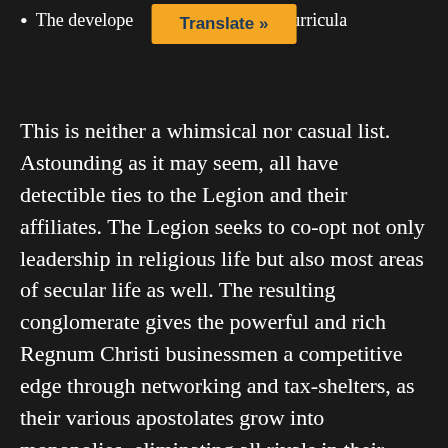The develope... curricula
Translate »
This is neither a whimsical nor casual list. Astounding as it may seem, all have detectible ties to the Legion and their affiliates. The Legion seeks to co-opt not only leadership in religious life but also most areas of secular life as well. The resulting conglomerate gives the powerful and rich Regnum Christi businessmen a competitive edge through networking and tax-shelters, as their various apostolates grow into monopolies, eliminating all rivals in their concentrated areas of activity and enterprise: